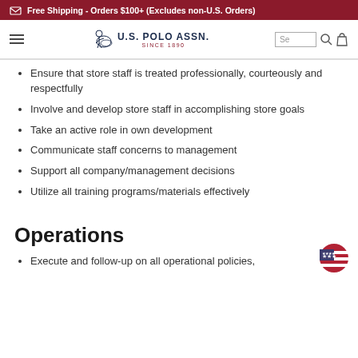Free Shipping - Orders $100+ (Excludes non-U.S. Orders)
[Figure (logo): U.S. Polo Assn. logo with polo player on horse, navigation bar with hamburger menu, search box and bag icon]
Ensure that store staff is treated professionally, courteously and respectfully
Involve and develop store staff in accomplishing store goals
Take an active role in own development
Communicate staff concerns to management
Support all company/management decisions
Utilize all training programs/materials effectively
Operations
Execute and follow-up on all operational policies,